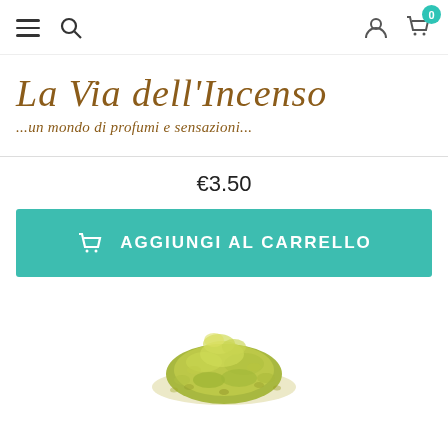Navigation header with hamburger menu, search icon, user icon, cart icon with badge 0
[Figure (logo): La Via dell'Incenso logo with italic script text and subtitle '...un mondo di profumi e sensazioni...']
€3.50
AGGIUNGI AL CARRELLO
[Figure (photo): Pile of dried herbal/incense material, green-yellow colored, on white background]